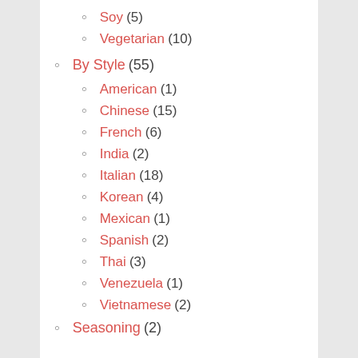Soy (5)
Vegetarian (10)
By Style (55)
American (1)
Chinese (15)
French (6)
India (2)
Italian (18)
Korean (4)
Mexican (1)
Spanish (2)
Thai (3)
Venezuela (1)
Vietnamese (2)
Seasoning (2)